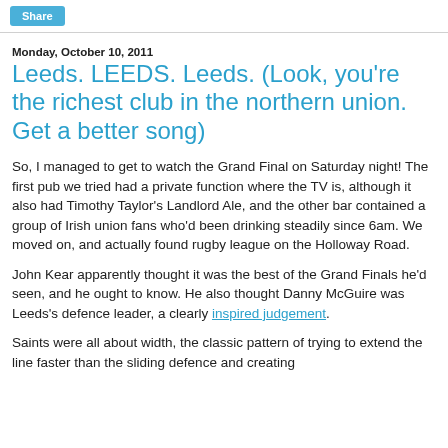Share
Monday, October 10, 2011
Leeds. LEEDS. Leeds. (Look, you're the richest club in the northern union. Get a better song)
So, I managed to get to watch the Grand Final on Saturday night! The first pub we tried had a private function where the TV is, although it also had Timothy Taylor's Landlord Ale, and the other bar contained a group of Irish union fans who'd been drinking steadily since 6am. We moved on, and actually found rugby league on the Holloway Road.
John Kear apparently thought it was the best of the Grand Finals he'd seen, and he ought to know. He also thought Danny McGuire was Leeds's defence leader, a clearly inspired judgement.
Saints were all about width, the classic pattern of trying to extend the line faster than the sliding defence and creating